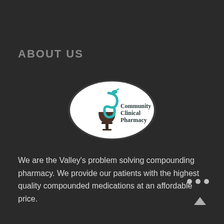ABOUT US
[Figure (logo): Community Clinical Pharmacy logo: oval white background with a Bowl of Hygieia (mortar and serpent) icon in teal and dark brown, with the text 'Community Clinical Pharmacy' in dark serif font]
We are the Valley's problem solving compounding pharmacy. We provide our patients with the highest quality compounded medications at an affordable price.